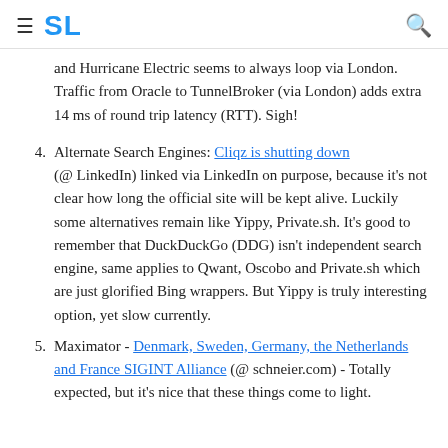SL
and Hurricane Electric seems to always loop via London. Traffic from Oracle to TunnelBroker (via London) adds extra 14 ms of round trip latency (RTT). Sigh!
4. Alternate Search Engines: Cliqz is shutting down (@ LinkedIn) linked via LinkedIn on purpose, because it's not clear how long the official site will be kept alive. Luckily some alternatives remain like Yippy, Private.sh. It's good to remember that DuckDuckGo (DDG) isn't independent search engine, same applies to Qwant, Oscobo and Private.sh which are just glorified Bing wrappers. But Yippy is truly interesting option, yet slow currently.
5. Maximator - Denmark, Sweden, Germany, the Netherlands and France SIGINT Alliance (@ schneier.com) - Totally expected, but it's nice that these things come to light.